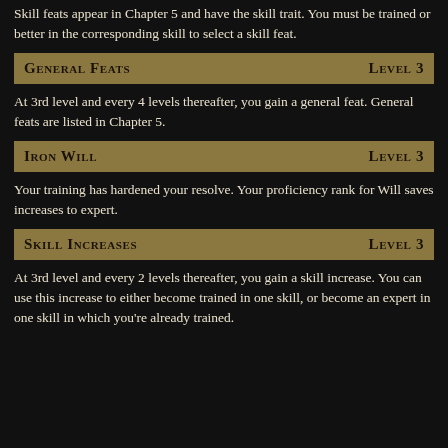Skill feats appear in Chapter 5 and have the skill trait. You must be trained or better in the corresponding skill to select a skill feat.
General Feats  Level 3
At 3rd level and every 4 levels thereafter, you gain a general feat. General feats are listed in Chapter 5.
Iron Will  Level 3
Your training has hardened your resolve. Your proficiency rank for Will saves increases to expert.
Skill Increases  Level 3
At 3rd level and every 2 levels thereafter, you gain a skill increase. You can use this increase to either become trained in one skill, or become an expert in one skill in which you're already trained.